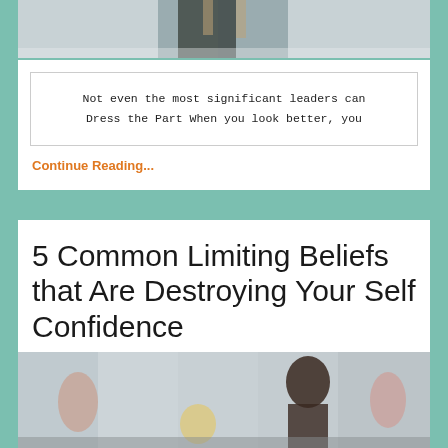[Figure (photo): Top portion of a person, partially cropped, on a light background]
Not even the most significant leaders can Dress the Part When you look better, you
Continue Reading...
5 Common Limiting Beliefs that Are Destroying Your Self Confidence
[Figure (photo): A woman with natural hair in a fitness or yoga class setting, with other people blurred in the background]